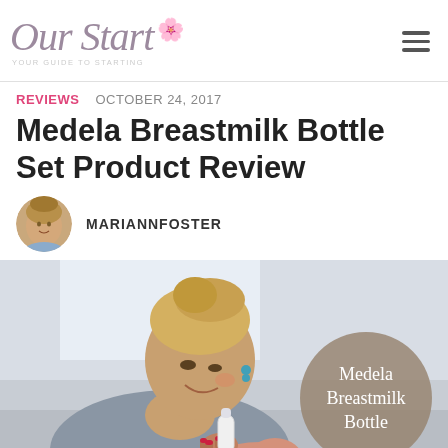Our Start — REVIEWS  OCTOBER 24, 2017
Medela Breastmilk Bottle Set Product Review
MARIANNFOSTER
[Figure (photo): Woman smiling and feeding a baby with a bottle, with a circular overlay reading 'Medela Breastmilk Bottle']